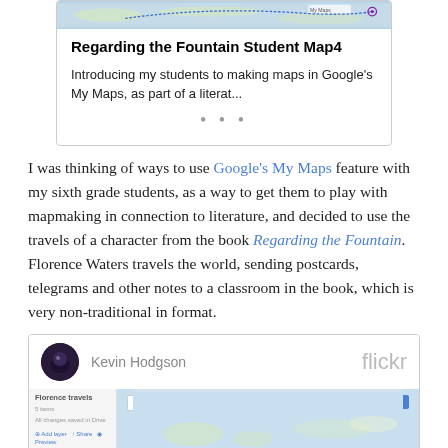[Figure (screenshot): Card preview of 'Regarding the Fountain Student Map4' showing a map thumbnail, title, and description snippet with three dots at bottom]
I was thinking of ways to use Google's My Maps feature with my sixth grade students, as a way to get them to play with mapmaking in connection to literature, and decided to use the travels of a character from the book Regarding the Fountain. Florence Waters travels the world, sending postcards, telegrams and other notes to a classroom in the book, which is very non-traditional in format.
[Figure (screenshot): Flickr card showing Kevin Hodgson profile with avatar, name, Flickr logo, and a Google Maps screenshot preview of Florence travels map with Costa Rica visible]